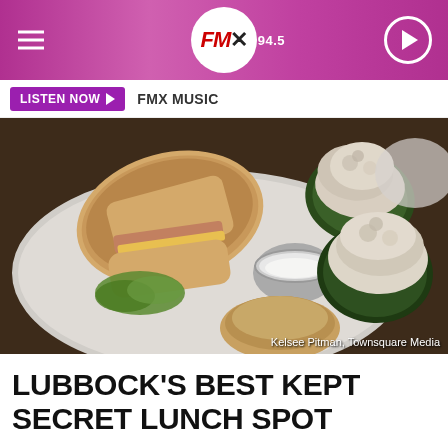FMX 94.5
LISTEN NOW   FMX MUSIC
[Figure (photo): Plate of food including a sandwich on white bread with lettuce and cheese, two avocado halves topped with chicken salad, a small metal bowl of sour cream, and a dinner roll with side salad greens. Photo credit: Kelsee Pitman, Townsquare Media]
LUBBOCK'S BEST KEPT SECRET LUNCH SPOT